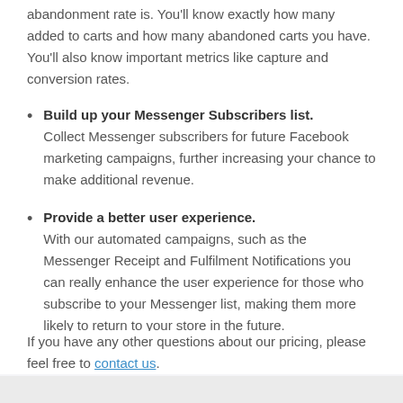abandonment rate is. You'll know exactly how many added to carts and how many abandoned carts you have. You'll also know important metrics like capture and conversion rates.
Build up your Messenger Subscribers list. Collect Messenger subscribers for future Facebook marketing campaigns, further increasing your chance to make additional revenue.
Provide a better user experience. With our automated campaigns, such as the Messenger Receipt and Fulfilment Notifications you can really enhance the user experience for those who subscribe to your Messenger list, making them more likely to return to your store in the future.
If you have any other questions about our pricing, please feel free to contact us.